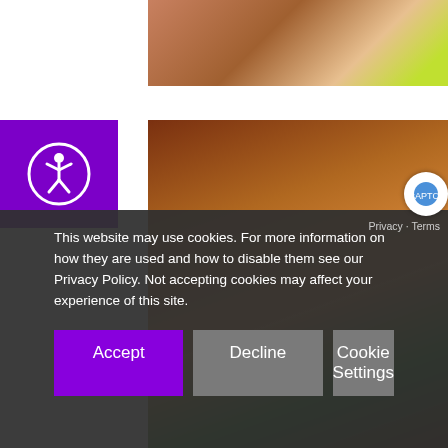[Figure (photo): Partial photo at top showing people at a formal event, cropped]
[Figure (logo): Purple accessibility button with wheelchair/person icon in a circle]
[Figure (photo): Two women smiling at a formal event, one in green dress and one in purple dress, both holding cocktail glasses]
[Figure (photo): Partial photo at bottom showing people at a dark formal event]
This website may use cookies. For more information on how they are used and how to disable them see our Privacy Policy. Not accepting cookies may affect your experience of this site.
Accept
Decline
Cookie Settings